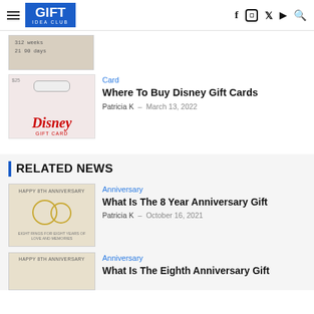GIFT IDEA CLUB
[Figure (photo): Cropped top of a countdown timer image showing '312 weeks 21 90 days']
Card
Where To Buy Disney Gift Cards
Patricia K  –  March 13, 2022
[Figure (photo): Disney Gift Card product image showing red Disney logo on a $25 gift card]
RELATED NEWS
Anniversary
What Is The 8 Year Anniversary Gift
Patricia K  –  October 16, 2021
[Figure (photo): Happy 8th Anniversary gift box with gold rings necklace]
Anniversary
What Is The Eighth Anniversary Gift
[Figure (photo): Happy 8th Anniversary gift box similar to above]